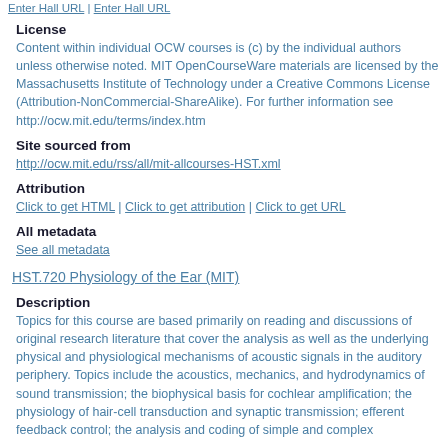Enter Hall URL | Enter Hall URL
License
Content within individual OCW courses is (c) by the individual authors unless otherwise noted. MIT OpenCourseWare materials are licensed by the Massachusetts Institute of Technology under a Creative Commons License (Attribution-NonCommercial-ShareAlike). For further information see http://ocw.mit.edu/terms/index.htm
Site sourced from
http://ocw.mit.edu/rss/all/mit-allcourses-HST.xml
Attribution
Click to get HTML | Click to get attribution | Click to get URL
All metadata
See all metadata
HST.720 Physiology of the Ear (MIT)
Description
Topics for this course are based primarily on reading and discussions of original research literature that cover the analysis as well as the underlying physical and physiological mechanisms of acoustic signals in the auditory periphery. Topics include the acoustics, mechanics, and hydrodynamics of sound transmission; the biophysical basis for cochlear amplification; the physiology of hair-cell transduction and synaptic transmission; efferent feedback control; the analysis and coding of simple and complex